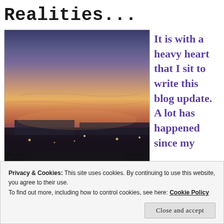Realities...
[Figure (photo): Sunset photograph showing an industrial/warehouse area with a colorful orange and purple sky at dusk, lights visible in the distance]
It is with a heavy heart that I sit to write this blog update. A lot has happened since my
Privacy & Cookies: This site uses cookies. By continuing to use this website, you agree to their use. To find out more, including how to control cookies, see here: Cookie Policy
Close and accept